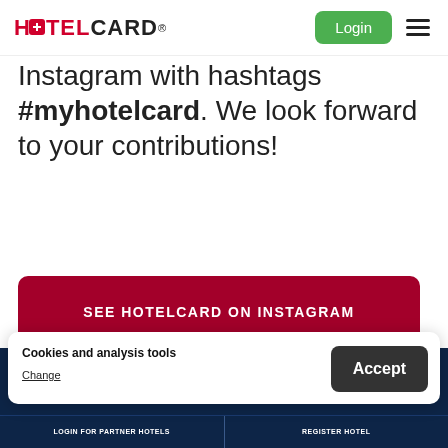HOTELCARD Login
Instagram with hashtags #myhotelcard. We look forward to your contributions!
SEE HOTELCARD ON INSTAGRAM
Cookies and analysis tools
Change
Accept
LOGIN FOR PARTNER HOTELS | REGISTER HOTEL